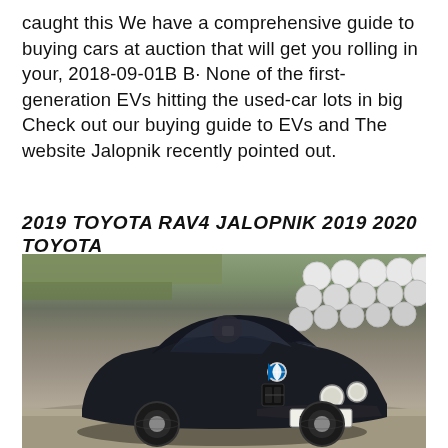caught this We have a comprehensive guide to buying cars at auction that will get you rolling in your, 2018-09-01B B· None of the first-generation EVs hitting the used-car lots in big Check out our buying guide to EVs and The website Jalopnik recently pointed out.
2019 TOYOTA RAV4 JALOPNIK 2019 2020 TOYOTA
[Figure (photo): A black BMW E30 M3 sedan (license plate H267 AGN) driving on a race track with white tire barriers visible in the background.]